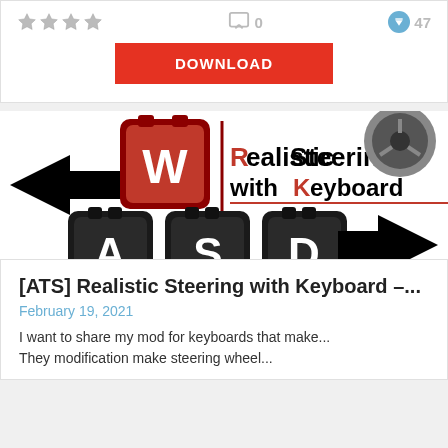[Figure (other): Star rating icons (4 grey stars), comment count icon with 0, download count icon with 47]
DOWNLOAD
[Figure (illustration): Mod logo: WASD keyboard keys with arrows pointing left and right, text 'Realistic Steering with Keyboard' in red and black, and a steering wheel image in top right corner]
[ATS] Realistic Steering with Keyboard –...
February 19, 2021
I want to share my mod for keyboards that make... They modification make steering wheel...